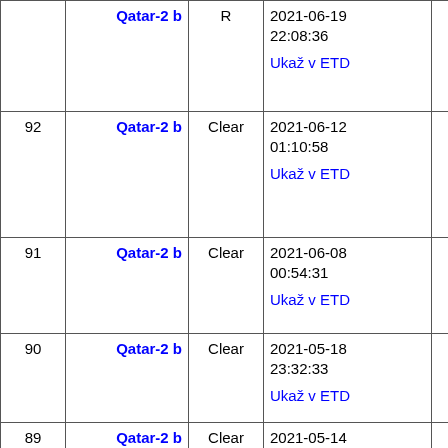| # | Name | Type | Date |  |
| --- | --- | --- | --- | --- |
| (93) | Qatar-2 b | R | 2021-06-19 22:08:36
Ukaž v ETD |  |
| 92 | Qatar-2 b | Clear | 2021-06-12 01:10:58
Ukaž v ETD |  |
| 91 | Qatar-2 b | Clear | 2021-06-08 00:54:31
Ukaž v ETD |  |
| 90 | Qatar-2 b | Clear | 2021-05-18 23:32:33
Ukaž v ETD |  |
| 89 | Qatar-2 b | Clear | 2021-05-14 23:21:07
Ukaž v ETD |  |
| 88 | Qatar-2 b | Clear | 2021-04-30 06:14:03
Ukaž v ETD |  |
| 87 | Qatar-2 b | R | 2021-04-24 21:51:07
Ukaž v ETD |  |